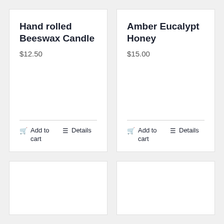Hand rolled Beeswax Candle
$12.50
Add to cart
Details
Amber Eucalypt Honey
$15.00
Add to cart
Details
[Figure (other): Empty product card placeholder]
[Figure (other): Empty product card placeholder]